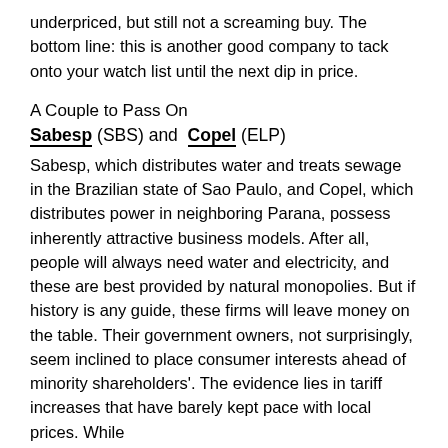underpriced, but still not a screaming buy. The bottom line: this is another good company to tack onto your watch list until the next dip in price.
A Couple to Pass On
Sabesp (SBS) and Copel (ELP)
Sabesp, which distributes water and treats sewage in the Brazilian state of Sao Paulo, and Copel, which distributes power in neighboring Parana, possess inherently attractive business models. After all, people will always need water and electricity, and these are best provided by natural monopolies. But if history is any guide, these firms will leave money on the table. Their government owners, not surprisingly, seem inclined to place consumer interests ahead of minority shareholders'. The evidence lies in tariff increases that have barely kept pace with local prices. While...